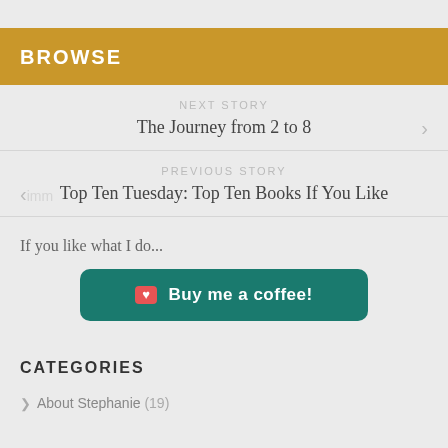BROWSE
NEXT STORY
The Journey from 2 to 8
PREVIOUS STORY
Top Ten Tuesday: Top Ten Books If You Like
If you like what I do...
Buy me a coffee!
CATEGORIES
About Stephanie (19)